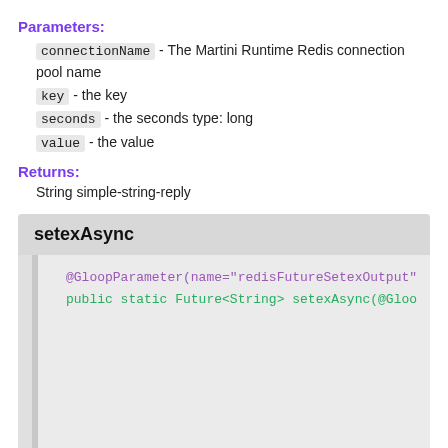Parameters:
connectionName - The Martini Runtime Redis connection pool name
key - the key
seconds - the seconds type: long
value - the value
Returns:
String simple-string-reply
setexAsync
@GloopParameter(name="redisFutureSetexOutput"
public static Future<String> setexAsync(@Gloo
Asynchronously set the value and expiration of a key.